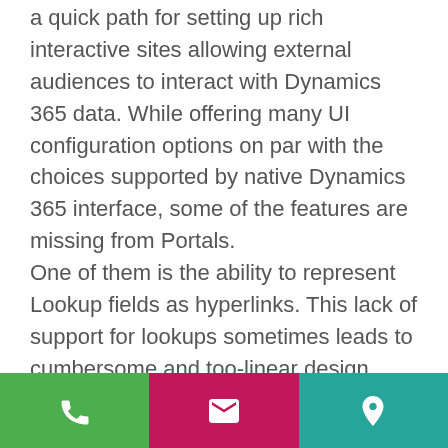a quick path for setting up rich interactive sites allowing external audiences to interact with Dynamics 365 data. While offering many UI configuration options on par with the choices supported by native Dynamics 365 interface, some of the features are missing from Portals. One of them is the ability to represent Lookup fields as hyperlinks. This lack of support for lookups sometimes leads to cumbersome and too-linear design choices with no easy way to navigate to parent records from child records. Let's imagine that we would like to display lists of Contacts and allow our portal users to edit individual Contacts.
[Figure (other): Bottom navigation bar with three buttons: phone (green), email (pink/magenta), and location pin (teal)]